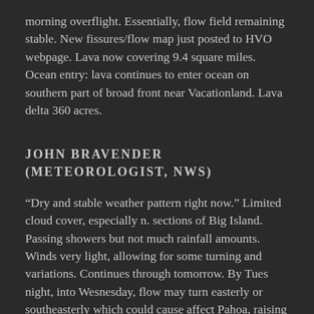morning overflight. Essentially, flow field remaining stable. New fissures/flow map just posted to HVO webpage. Lava now covering 9.4 square miles. Ocean entry: lava continues to enter ocean on southern part of broad front near Vacationland. Lava delta 360 acres.
JOHN BRAVENDER (METEOROLOGIST, NWS)
“Dry and stable weather pattern right now.” Limited cloud cover, especially n. sections of Big Island. Passing showers but not much rainfall amounts.  Winds very light, allowing for some turning and variations. Continues through tomorrow. By Tues night, into Wesnesday, flow may turn easterly or southeasterly which could cause affect Pahoa, raising concerns about volcanic emissions reaching